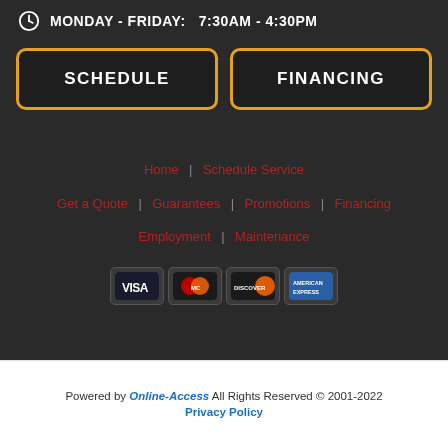MONDAY - FRIDAY:  7:30AM - 4:30PM
SCHEDULE
FINANCING
Home | Schedule Service | Get a Quote | Guarantees | Promotions | Financing | Employment | Maintenance
[Figure (logo): Payment method icons: VISA, Mastercard, Discover, American Express]
Powered by Online-Access All Rights Reserved © 2001-2022 Privacy Policy